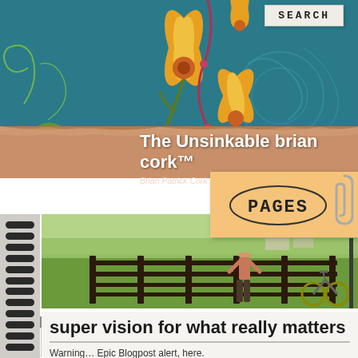[Figure (illustration): Decorative teal/blue-green banner header with floral and swirl illustration elements, featuring orange/yellow flowers and green leaves on a teal background]
The Unsinkable brian cork™
Brian Patrick Cork is living the Authentic Life
[Figure (illustration): Orange sticky note tab with handwritten 'PAGES' text and a paper clip]
[Figure (photo): Photo of a shirtless man in shorts standing near a wooden fence on a green field, with a bicycle visible. Trees and houses in background.]
super vision for what really matters
Warning… Epic Blogpost alert, here.
If you've been following this Blog – and, of course, you have – you know